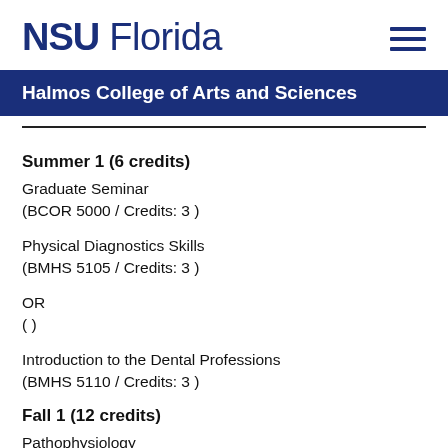NSU Florida
Halmos College of Arts and Sciences
Summer 1 (6 credits)
Graduate Seminar
(BCOR 5000 / Credits: 3 )
Physical Diagnostics Skills
(BMHS 5105 / Credits: 3 )
OR
( )
Introduction to the Dental Professions
(BMHS 5110 / Credits: 3 )
Fall 1 (12 credits)
Pathophysiology
(BMHS 5200 / Credits: 3 )